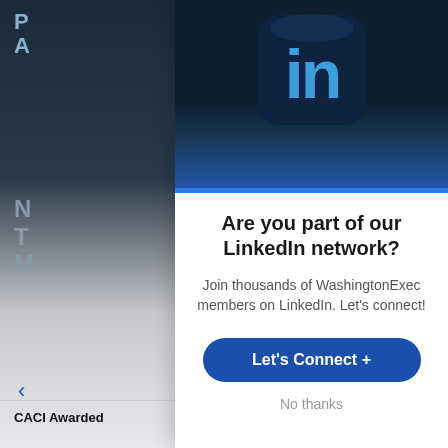[Figure (screenshot): LinkedIn network prompt modal overlaid on a webpage. The modal shows a LinkedIn logo icon on a dark blue background, a blue accent bar, bold heading 'Are you part of our LinkedIn network?', subtitle text, a 'Let's Connect +' button, and a 'No thanks' link. The left side shows a partially visible webpage sidebar with letters and a 'CACI Awarded' text.]